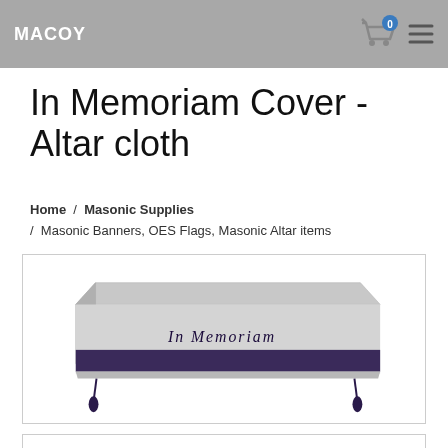MACOY
In Memoriam Cover - Altar cloth
Home / Masonic Supplies / Masonic Banners, OES Flags, Masonic Altar items
[Figure (photo): An altar cloth draped over a rectangular table, silver/grey fabric with a dark purple/black horizontal band near the bottom, with 'In Memoriam' written in Gothic script on the front, and dark decorative tassels hanging from the corners.]
[Figure (other): Partially visible content box at the bottom of the page.]